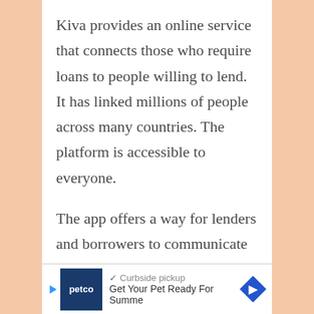Kiva provides an online service that connects those who require loans to people willing to lend. It has linked millions of people across many countries. The platform is accessible to everyone.
The app offers a way for lenders and borrowers to communicate via the internet, making it more affordable than brick-and-mortar lending institutions.
Kiva is a not-for-profit organization and one of the most popular applications like SoLo
[Figure (other): Advertisement banner for Petco showing logo, curbside pickup text, and Get Your Pet Ready For Summer tagline with navigation arrow]